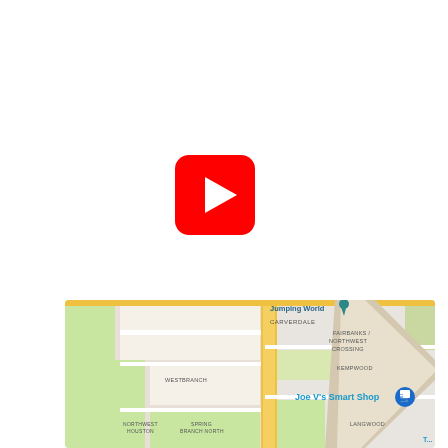[Figure (logo): YouTube logo icon — red rounded square with white play button triangle]
[Figure (logo): Twitter logo icon — blue rounded square with white bird/twitter logo]
[Figure (map): Google Maps screenshot showing Houston area neighborhoods including Carverdale, Fairbanks/Northwest Crossing, Kempwood, Westbranch, Northwest Houston, Spring Branch North, Langwood, with Joe V's Smart Shop marked with a pin]